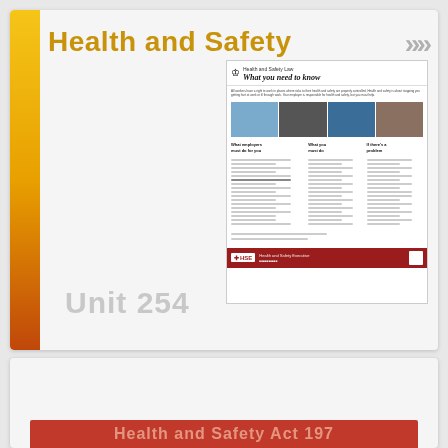Health and Safety
[Figure (illustration): HSE 'Health and Safety Law: What you need to know' poster thumbnail showing the official UK workplace safety poster with photos, columns of text, and red HSE branding at bottom]
Unit 254
[Figure (illustration): Bottom card with partial red banner at the bottom, beginning to show 'Health and Safety Act 197...' text]